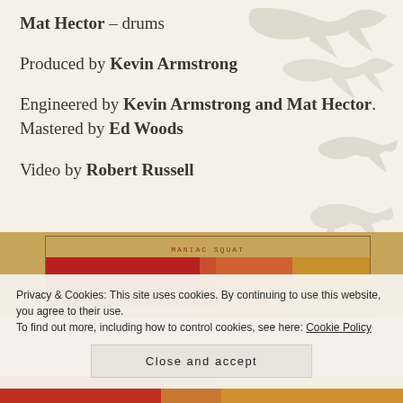Mat Hector – drums
Produced by Kevin Armstrong
Engineered by Kevin Armstrong and Mat Hector. Mastered by Ed Woods
Video by Robert Russell
[Figure (photo): Album artwork for 'Maniac Squat' showing colored panels in red, orange, and gold on a tan/ochre background]
Privacy & Cookies: This site uses cookies. By continuing to use this website, you agree to their use.
To find out more, including how to control cookies, see here: Cookie Policy
Close and accept